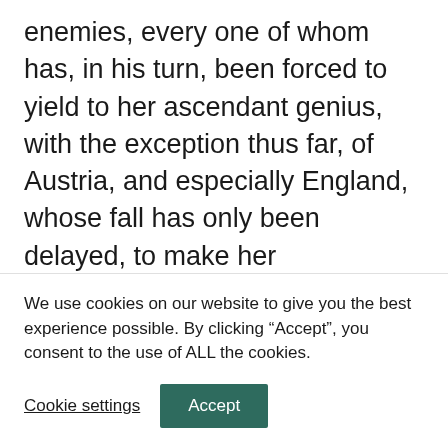enemies, every one of whom has, in his turn, been forced to yield to her ascendant genius, with the exception thus far, of Austria, and especially England, whose fall has only been delayed, to make her degradation more terrible, and the triumph of her victorious rival the more complete; all this, I say, has satisfied my mind, that the ancient system of tyranny must fall. In many nations it is already extinct, in others, it has received its death wound, and though it may for some time trail a feeble and lingering existence, its duration is ascertained, and its days
We use cookies on our website to give you the best experience possible. By clicking “Accept”, you consent to the use of ALL the cookies.
Cookie settings
Accept